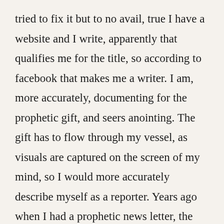tried to fix it but to no avail, true I have a website and I write, apparently that qualifies me for the title, so according to facebook that makes me a writer. I am, more accurately, documenting for the prophetic gift, and seers anointing. The gift has to flow through my vessel, as visuals are captured on the screen of my mind, so I would more accurately describe myself as a reporter. Years ago when I had a prophetic news letter, the Lord provided for me a proof reader that had a bachelors degree in english. Now all I have is spell check, and the lenience given to one as a blogger. Still, being left to my own eye for grammatical accuracy, and puncutation, challenges my sense of pride. But, the Spirit